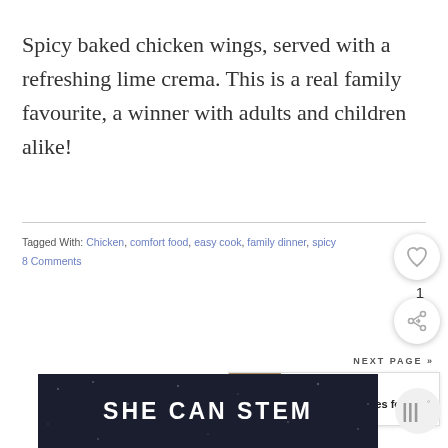Spicy baked chicken wings, served with a refreshing lime crema. This is a real family favourite, a winner with adults and children alike!
Tagged With: Chicken, comfort food, easy cook, family dinner, spicy
8 Comments
[Figure (other): Heart/like button circle icon with count of 1]
[Figure (other): Share button circle icon]
NEXT PAGE »
[Figure (other): Next page card with thumbnail and text: WHAT'S NEXT → Meat Free Recipes for...]
[Figure (other): Bottom dark banner with text SHE CAN STEM and logo with bars symbol]